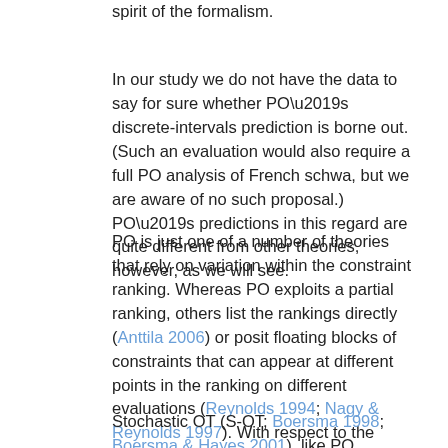spirit of the formalism.
In our study we do not have the data to say for sure whether PO’s discrete-intervals prediction is borne out. (Such an evaluation would also require a full PO analysis of French schwa, but we are aware of no such proposal.) PO’s predictions in this regard are quite different from other theories, however, as we will see.
PO is just one of a number of theories that rely on variation within the constraint ranking. Whereas PO exploits a partial ranking, others list the rankings directly (Anttila 2006) or posit floating blocks of constraints that can appear at different points in the ranking on different evaluations (Reynolds 1994; Nagy & Reynolds 1997). With respect to the kinds of variation these theories predict, they all behave similarly to PO because they all rely on the same basic mechanisms to derive variation and output frequencies.
Stochastic OT (S-OT; Boersma 1998; Boersma & Hayes 2001), like PO, attributes variation to the availability of